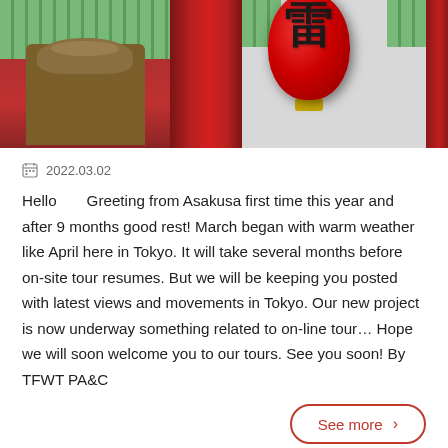[Figure (photo): Banner photo showing Asakusa temple area: left side shows green decorative elements and a guardian statue in brown/gold tones against a red background; right side shows a large red lantern with black kanji character hanging between red pillars with green decorative borders at top, against a light grey sky background.]
2022.03.02
Hello　　Greeting from Asakusa first time this year and after 9 months good rest! March began with warm weather like April here in Tokyo. It will take several months before on-site tour resumes. But we will be keeping you posted with latest views and movements in Tokyo. Our new project is now underway something related to on-line tour… Hope we will soon welcome you to our tours. See you soon! By TFWT PA&C
See more ›
Tokyo Now #33:　The flowers during rainy